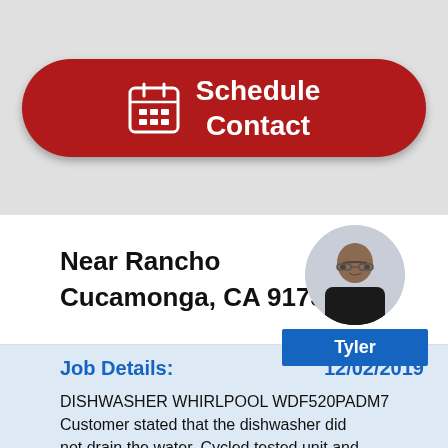[Figure (screenshot): Red rounded button with calendar icon and text 'Schedule Contact']
Near Rancho Cucamonga, CA 91739
[Figure (photo): Circular profile photo of a man named Tyler]
Tyler
Job Details: 12/02/2019 DISHWASHER WHIRLPOOL WDF520PADM7 Customer stated that the dishwasher did not drain the water. Cycled tested unit and checked drain. Found connector on drain